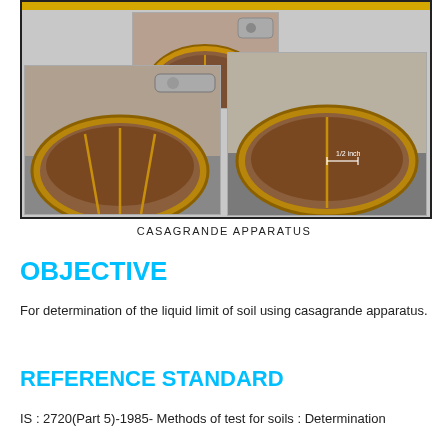[Figure (photo): Three photographs of the Casagrande apparatus showing soil samples in brass cup with groove, demonstrating liquid limit test procedure including top view showing groove and measurement of 1/2 inch closure]
CASAGRANDE APPARATUS
OBJECTIVE
For determination of the liquid limit of soil using casagrande apparatus.
REFERENCE STANDARD
IS : 2720(Part 5)-1985- Methods of test for soils : Determination